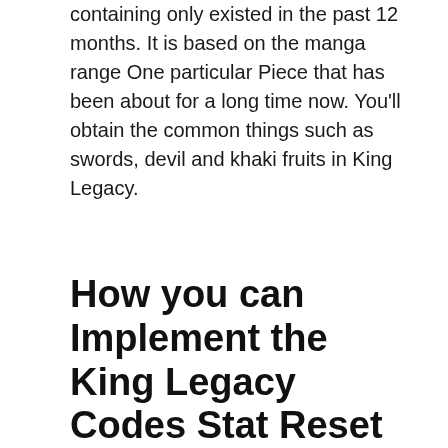containing only existed in the past 12 months. It is based on the manga range One particular Piece that has been about for a long time now. You'll obtain the common things such as swords, devil and khaki fruits in King Legacy.
How you can Implement the King Legacy Codes Stat Reset